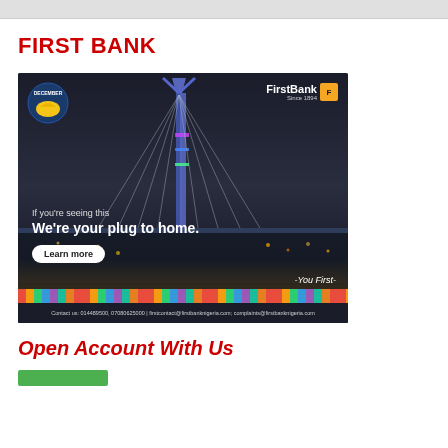FIRST BANK
[Figure (photo): FirstBank advertisement showing a lit suspension bridge at night with text 'If you're seeing this We're your plug to home. Learn more -You First-' and a colorful cultural strip at the bottom. Contact details: Contact us: 014489500, 07080625000 | firstcontact@firstbanknigeria.com; complaints@firstbanknigeria.com]
Open Account With Us